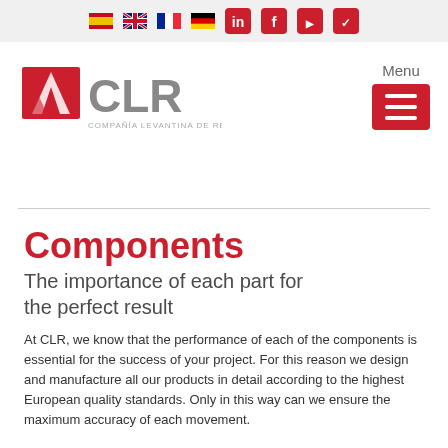Navigation bar with language flags (ES, EN, FR, DE) and social media icons (LinkedIn, Facebook, YouTube, Twitter)
[Figure (logo): CLR logo - Compañía Levantina de Reductores, red and grey branding]
Components
The importance of each part for the perfect result
At CLR, we know that the performance of each of the components is essential for the success of your project. For this reason we design and manufacture all our products in detail according to the highest European quality standards. Only in this way can we ensure the maximum accuracy of each movement.